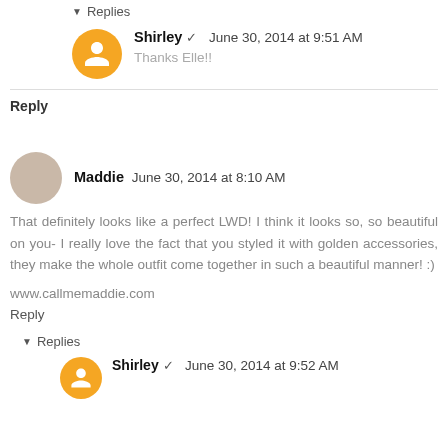▾ Replies
Shirley ✔ June 30, 2014 at 9:51 AM
Thanks Elle!!
Reply
Maddie June 30, 2014 at 8:10 AM
That definitely looks like a perfect LWD! I think it looks so, so beautiful on you- I really love the fact that you styled it with golden accessories, they make the whole outfit come together in such a beautiful manner! :)
www.callmemaddie.com
Reply
▾ Replies
Shirley ✔ June 30, 2014 at 9:52 AM